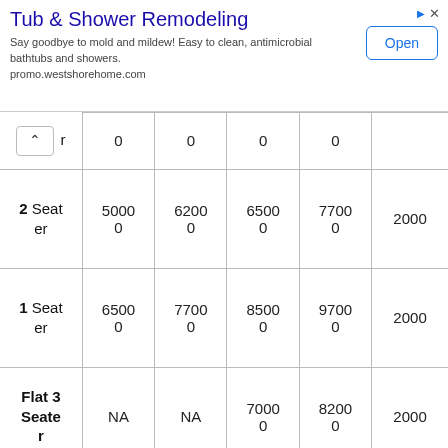[Figure (other): Advertisement banner for Tub & Shower Remodeling by westshorehome.com with an Open button]
| Type | Col1 | Col2 | Col3 | Col4 | Col5 |
| --- | --- | --- | --- | --- | --- |
| r | 0 | 0 | 0 | 0 |  |
| 2 Seater | 50000 | 62000 | 65000 | 77000 | 2000 |
| 1 Seater | 65000 | 77000 | 85000 | 97000 | 2000 |
| Flat 3 Seater | NA | NA | 70000 | 82000 | 2000 |